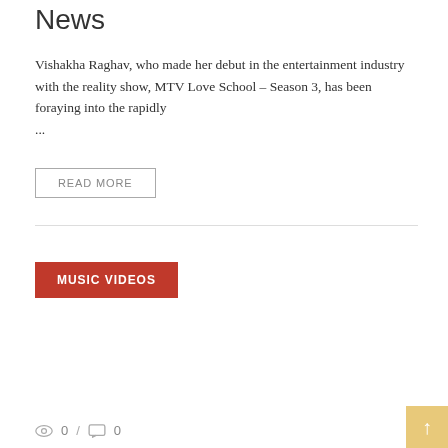News
Vishakha Raghav, who made her debut in the entertainment industry with the reality show, MTV Love School – Season 3, has been foraying into the rapidly ...
READ MORE
MUSIC VIDEOS
0 / 0